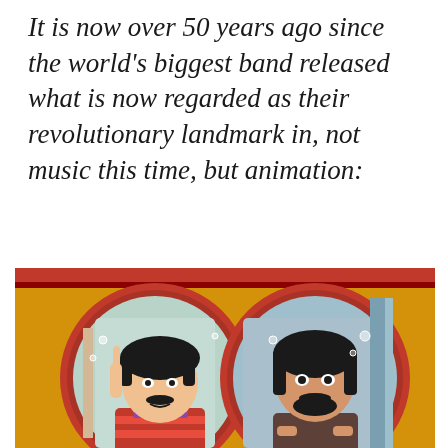It is now over 50 years ago since the world's biggest band released what is now regarded as their revolutionary landmark in, not music this time, but animation:
[Figure (illustration): Animated cartoon still from the Beatles' Yellow Submarine film, showing two Beatles characters (Ringo Starr and another Beatle) looking through circular portholes of the yellow submarine. The background is golden/yellow with a red-bordered stripe at the top. Both characters have black hair and are drawn in the distinctive psychedelic animation style of the 1968 film.]